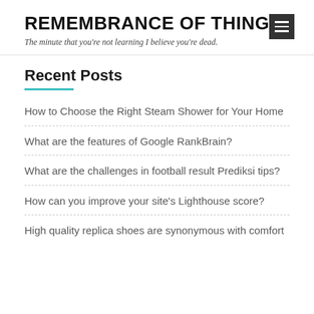REMEMBRANCE OF THINGS
The minute that you're not learning I believe you're dead.
Recent Posts
How to Choose the Right Steam Shower for Your Home
What are the features of Google RankBrain?
What are the challenges in football result Prediksi tips?
How can you improve your site's Lighthouse score?
High quality replica shoes are synonymous with comfort